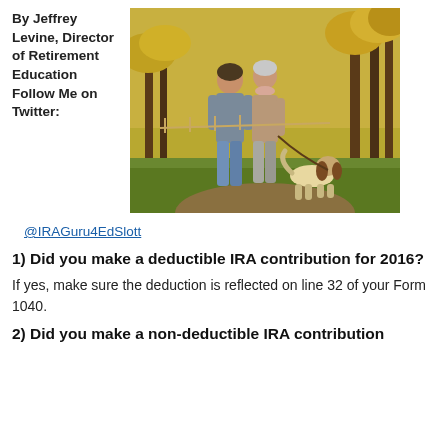By Jeffrey Levine, Director of Retirement Education Follow Me on Twitter:
[Figure (photo): An older couple walking a beagle dog along a tree-lined autumn path with golden foliage]
@IRAGuru4EdSlott
1) Did you make a deductible IRA contribution for 2016?
If yes, make sure the deduction is reflected on line 32 of your Form 1040.
2) Did you make a non-deductible IRA contribution